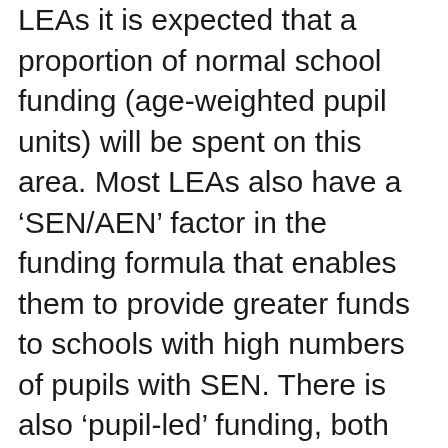LEAs it is expected that a proportion of normal school funding (age-weighted pupil units) will be spent on this area. Most LEAs also have a ‘SEN/AEN’ factor in the funding formula that enables them to provide greater funds to schools with high numbers of pupils with SEN. There is also ‘pupil-led’ funding, both for statemented and non-statemented pupils.
Delegated funding for SEN was encouraged by the Audit Commission report Statutory Assessment and Statements of Special Educational Need: in Need of Review? (June 2002) which highlighted the inherent tensions created